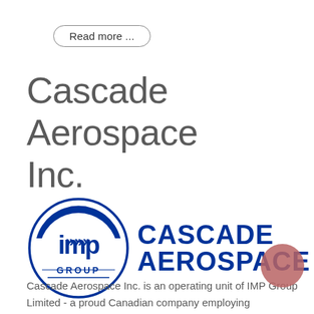Read more ...
Cascade Aerospace Inc.
[Figure (logo): IMP Group circular logo on left; 'CASCADE AEROSPACE' bold blue text logo on right]
Cascade Aerospace Inc. is an operating unit of IMP Group Limited - a proud Canadian company employing